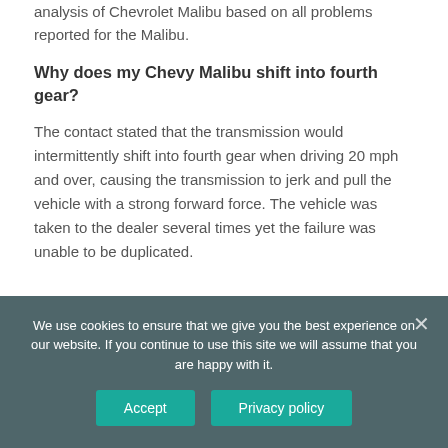analysis of Chevrolet Malibu based on all problems reported for the Malibu.
Why does my Chevy Malibu shift into fourth gear?
The contact stated that the transmission would intermittently shift into fourth gear when driving 20 mph and over, causing the transmission to jerk and pull the vehicle with a strong forward force. The vehicle was taken to the dealer several times yet the failure was unable to be duplicated.
We use cookies to ensure that we give you the best experience on our website. If you continue to use this site we will assume that you are happy with it.